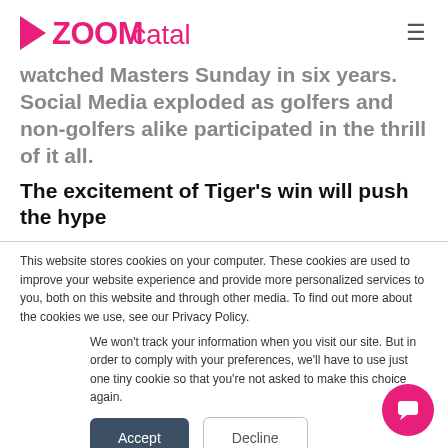ZOOMcatalog
watched Masters Sunday in six years. Social Media exploded as golfers and non-golfers alike participated in the thrill of it all.
The excitement of Tiger's win will push the hype
This website stores cookies on your computer. These cookies are used to improve your website experience and provide more personalized services to you, both on this website and through other media. To find out more about the cookies we use, see our Privacy Policy.
We won't track your information when you visit our site. But in order to comply with your preferences, we'll have to use just one tiny cookie so that you're not asked to make this choice again.
Accept
Decline